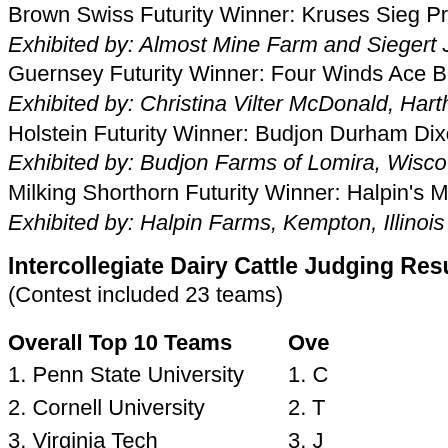Brown Swiss Futurity Winner: Kruses Sieg Pre…
Exhibited by: Almost Mine Farm and Siegert J…
Guernsey Futurity Winner: Four Winds Ace Be…
Exhibited by: Christina Vilter McDonald, Harth…
Holstein Futurity Winner: Budjon Durham Dixe…
Exhibited by: Budjon Farms of Lomira, Wisco…
Milking Shorthorn Futurity Winner: Halpin's Me…
Exhibited by: Halpin Farms, Kempton, Illinois
Intercollegiate Dairy Cattle Judging Result…
(Contest included 23 teams)
Overall Top 10 Teams
1. Penn State University
2. Cornell University
3. Virginia Tech
Overall Top 10 Individuals (right column)
1. C…
2. T…
3. J…